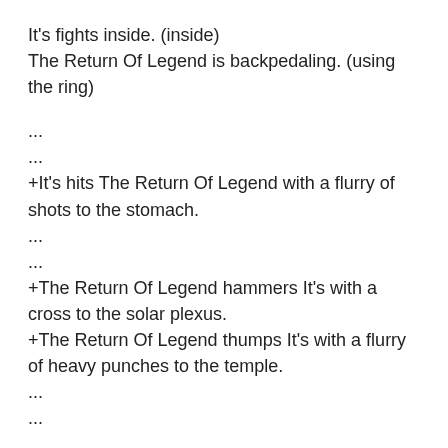It's fights inside. (inside)
The Return Of Legend is backpedaling. (using the ring)
...
...
+It's hits The Return Of Legend with a flurry of shots to the stomach.
...
...
+The Return Of Legend hammers It's with a cross to the solar plexus.
+The Return Of Legend thumps It's with a flurry of heavy punches to the temple.
...
...
...
-It's probes with a flurry of punches to the solar plexus, but